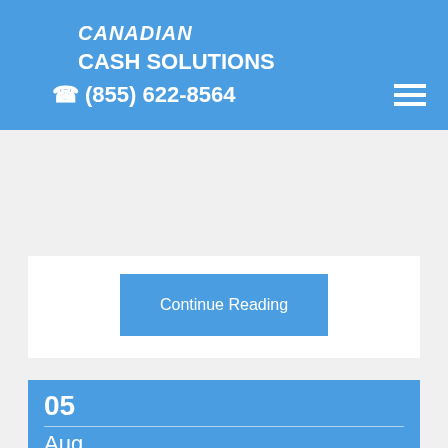CANADIAN CASH SOLUTIONS | (855) 622-8564
Whenever you're in need of some quick cash to get you through a rough patch, consider borrowing from a title loan lender. A personal loan with bad credit...
Continue Reading
05
Aug